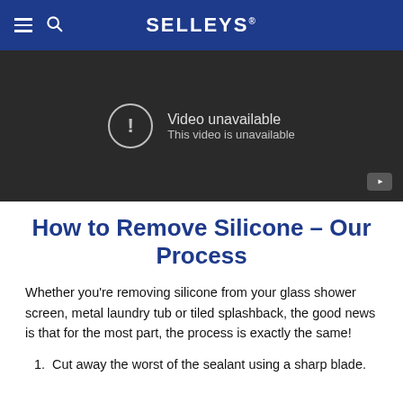SELLEYS
[Figure (screenshot): Video player showing 'Video unavailable - This video is unavailable' message on dark background with YouTube icon in corner]
How to Remove Silicone – Our Process
Whether you're removing silicone from your glass shower screen, metal laundry tub or tiled splashback, the good news is that for the most part, the process is exactly the same!
Cut away the worst of the sealant using a sharp blade.